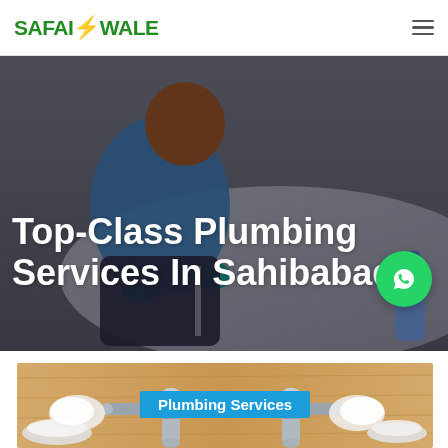SAFAIWALE
[Figure (photo): Overhead view of a person in blue uniform with teal gloves cleaning/mopping a floor surface]
Top-Class Plumbing Services In Sahibabad
[Figure (photo): Close-up of plumbing tools and fittings on a wooden surface with a teal banner reading Plumbing Services]